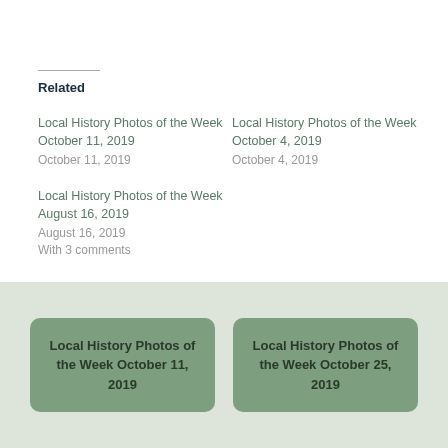Related
Local History Photos of the Week October 11, 2019
October 11, 2019
Local History Photos of the Week October 4, 2019
October 4, 2019
Local History Photos of the Week August 16, 2019
August 16, 2019
With 3 comments
Local History Photos of the Week October 11, 2019
Local History Photos of the Week October 25, 2019